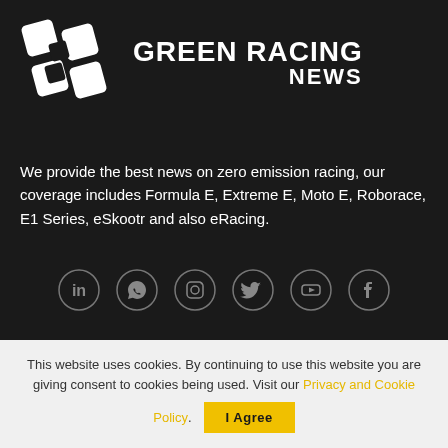[Figure (logo): Green Racing News logo with white checkered flag-style icon and bold white text 'GREEN RACING NEWS']
We provide the best news on zero emission racing, our coverage includes Formula E, Extreme E, Moto E, Roborace, E1 Series, eSkootr and also eRacing.
[Figure (illustration): Row of six social media icons (LinkedIn, WhatsApp, Instagram, Twitter, YouTube, Facebook) as circular grey outlined icons]
This website uses cookies. By continuing to use this website you are giving consent to cookies being used. Visit our Privacy and Cookie Policy.
I Agree